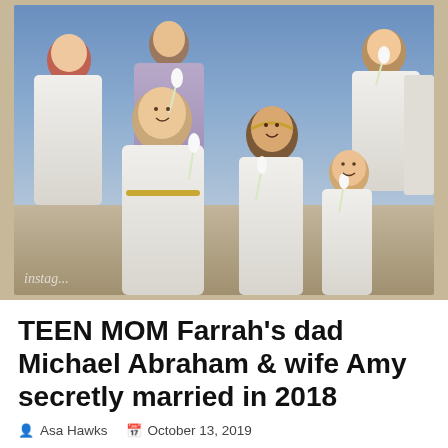[Figure (photo): Group photo of people dressed in white and lavender Greco-Roman style draped garments, holding white flowers, at what appears to be an outdoor wedding. Multiple adults and children pose together. A watermark reading 'instag...' is visible in the lower left corner.]
TEEN MOM Farrah's dad Michael Abraham & wife Amy secretly married in 2018
Asa Hawks  October 13, 2019  Farrah Abraham, Michael Abraham, Teen Mom, Weddings
On Wednesday, former Teen Mom OG star Farrah...